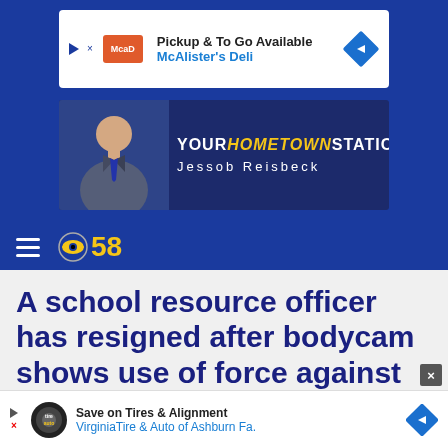[Figure (screenshot): McAlister's Deli advertisement banner: 'Pickup & To Go Available / McAlister's Deli']
[Figure (screenshot): Your Hometown Station banner featuring Jessob Reisbeck]
[Figure (logo): CBS 58 logo with hamburger menu icon]
A school resource officer has resigned after bodycam shows use of force against 11-year-old student
[Figure (screenshot): Virginia Tire & Auto advertisement: 'Save on Tires & Alignment / VirginiaTire & Auto of Ashburn Fa.']